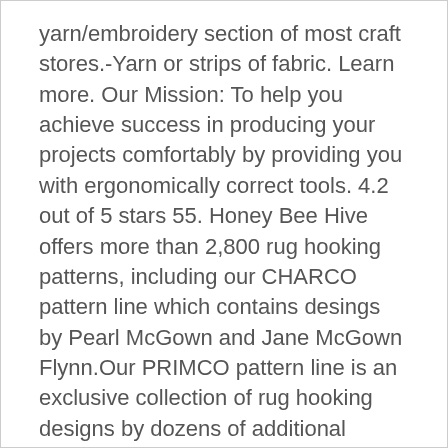yarn/embroidery section of most craft stores.-Yarn or strips of fabric. Learn more. Our Mission: To help you achieve success in producing your projects comfortably by providing you with ergonomically correct tools. 4.2 out of 5 stars 55. Honey Bee Hive offers more than 2,800 rug hooking patterns, including our CHARCO pattern line which contains desings by Pearl McGown and Jane McGown Flynn.Our PRIMCO pattern line is an exclusive collection of rug hooking designs by dozens of additional artists, including Kim Nixon's Under the Rug pattern line of footstool, chair pad and stair riser patterns. Click & Collect. Want to know more? Latch Hook Rug/Pillow Kit "A Tiger" by Hobbycraft Latch Hook Tool Included. We carry hooks that … See more ideas about rug hooking frames, rug hooking, rugs. A page dedicated to the art and craft of rug tufting.